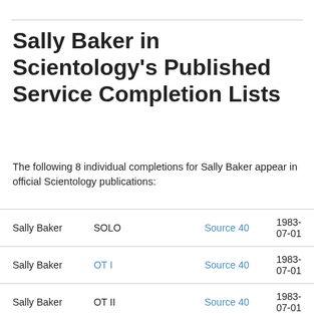Sally Baker in Scientology's Published Service Completion Lists
The following 8 individual completions for Sally Baker appear in official Scientology publications:
| Name | Service | Publication | Date |
| --- | --- | --- | --- |
| Sally Baker | SOLO | Source 40 | 1983-07-01 |
| Sally Baker | OT I | Source 40 | 1983-07-01 |
| Sally Baker | OT II | Source 40 | 1983-07-01 |
| Sally Baker | OT III | Source 40 | 1983-07-01 |
| Sally Baker | NEW OT IV OT DRUG | Source 40 | 1983- |